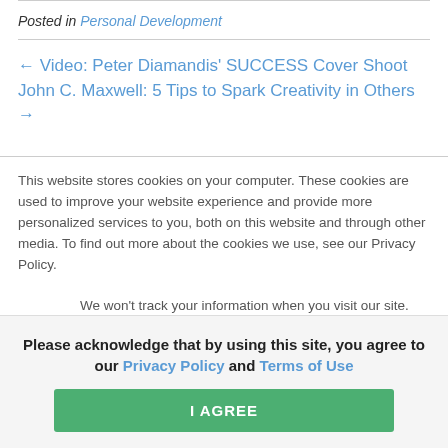Posted in Personal Development
← Video: Peter Diamandis' SUCCESS Cover Shoot
John C. Maxwell: 5 Tips to Spark Creativity in Others →
This website stores cookies on your computer. These cookies are used to improve your website experience and provide more personalized services to you, both on this website and through other media. To find out more about the cookies we use, see our Privacy Policy.
We won't track your information when you visit our site. But in order to comply with your preferences, we'll have to use just one tiny cookie...
Please acknowledge that by using this site, you agree to our Privacy Policy and Terms of Use
I AGREE